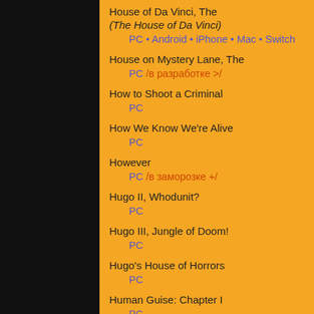House of Da Vinci, The
(The House of Da Vinci)
    PC • Android • iPhone • Mac • Switch
House on Mystery Lane, The
    PC /в разработке >/
How to Shoot a Criminal
    PC
How We Know We're Alive
    PC
However
    PC /в заморозке +/
Hugo II, Whodunit?
    PC
Hugo III, Jungle of Doom!
    PC
Hugo's House of Horrors
    PC
Human Guise: Chapter I
    PC
Humongous Entertainment Complete Pack
    PC
Hungry Whispers
    PC /в разработке >/
Hysteria Project